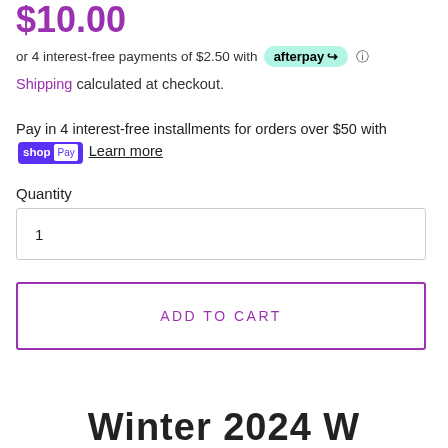$10.00
or 4 interest-free payments of $2.50 with afterpay ⓘ
Shipping calculated at checkout.
Pay in 4 interest-free installments for orders over $50 with shop Pay Learn more
Quantity
1
ADD TO CART
Winter 2024 W...